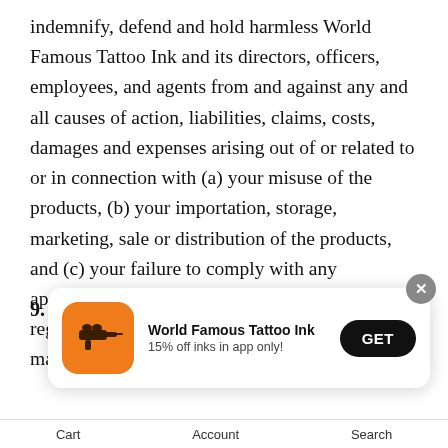indemnify, defend and hold harmless World Famous Tattoo Ink and its directors, officers, employees, and agents from and against any and all causes of action, liabilities, claims, costs, damages and expenses arising out of or related to or in connection with (a) your misuse of the products, (b) your importation, storage, marketing, sale or distribution of the products, and (c) your failure to comply with any applicable law, regulation, or industry standard regarding the export, import, distribution, marketing or sale of the products.
9. Force Majeure.
[Figure (other): App download popup banner for World Famous Tattoo Ink showing orange app icon with tattoo gun logo, bold text 'World Famous Tattoo Ink', subtext '15% off inks in app only!', and a black GET button. Has a close (X) button in the top right corner.]
Cart    Account    Search